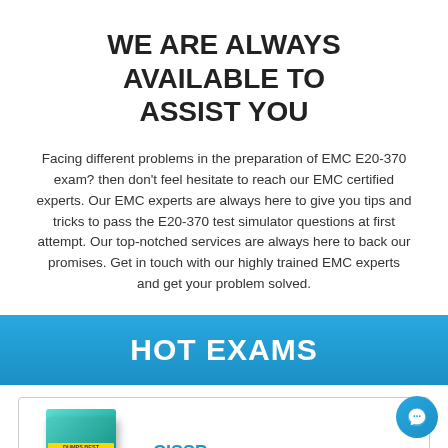WE ARE ALWAYS AVAILABLE TO ASSIST YOU
Facing different problems in the preparation of EMC E20-370 exam? then don't feel hesitate to reach our EMC certified experts. Our EMC experts are always here to give you tips and tricks to pass the E20-370 test simulator questions at first attempt. Our top-notched services are always here to back our promises. Get in touch with our highly trained EMC experts and get your problem solved.
HOT EXAMS
[Figure (other): Desktop Practice Test Software product box image in teal/green colors]
CISSP
1487 Questions